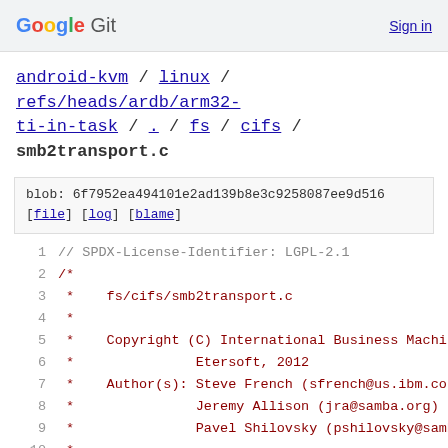Google Git   Sign in
android-kvm / linux / refs/heads/ardb/arm32-ti-in-task / . / fs / cifs / smb2transport.c
blob: 6f7952ea494101e2ad139b8e3c9258087ee9d516 [file] [log] [blame]
1  // SPDX-License-Identifier: LGPL-2.1
2  /*
3   *    fs/cifs/smb2transport.c
4   *
5   *    Copyright (C) International Business Machines
6   *               Etersoft, 2012
7   *    Author(s): Steve French (sfrench@us.ibm.co
8   *               Jeremy Allison (jra@samba.org)
9   *               Pavel Shilovsky (pshilovsky@samb
10  *
11  */